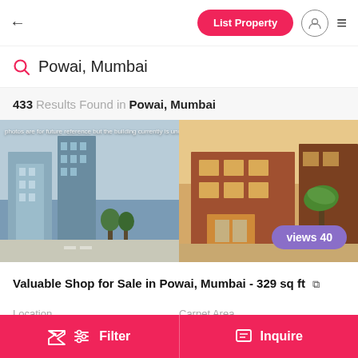← List Property [user icon] ≡
Powai, Mumbai
433 Results Found in Powai, Mumbai
[Figure (photo): Two property photos side by side: left shows a modern high-rise building under construction (blue-grey tones), right shows a commercial building with brick facade and palm trees. Overlay text reads 'photos are for future reference but the building currently is under constr...' and a purple badge reads 'views 40']
Valuable Shop for Sale in Powai, Mumbai - 329 sq ft
Location
Powai
Carpet Area
329 Sq. Ft.
Filter   Inquire